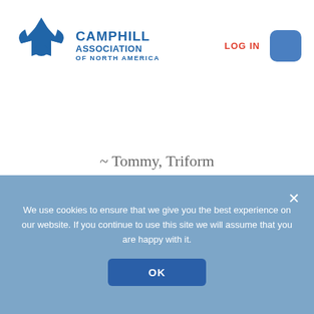[Figure (logo): Camphill Association of North America logo with blue bird/hands graphic and text]
LOG IN
~ Tommy, Triform
We use cookies to ensure that we give you the best experience on our website. If you continue to use this site we will assume that you are happy with it.
OK